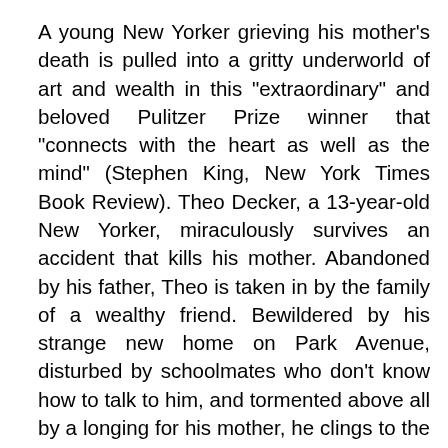A young New Yorker grieving his mother's death is pulled into a gritty underworld of art and wealth in this "extraordinary" and beloved Pulitzer Prize winner that "connects with the heart as well as the mind" (Stephen King, New York Times Book Review). Theo Decker, a 13-year-old New Yorker, miraculously survives an accident that kills his mother. Abandoned by his father, Theo is taken in by the family of a wealthy friend. Bewildered by his strange new home on Park Avenue, disturbed by schoolmates who don't know how to talk to him, and tormented above all by a longing for his mother, he clings to the one thing that reminds him of her: a small, mysteriously captivating painting that ultimately draws Theo into a wealthy and insular art community. As an adult, Theo moves silkily between the drawing rooms of the rich and the dusty labyrinth of an antiques store where he works. He is alienated and in